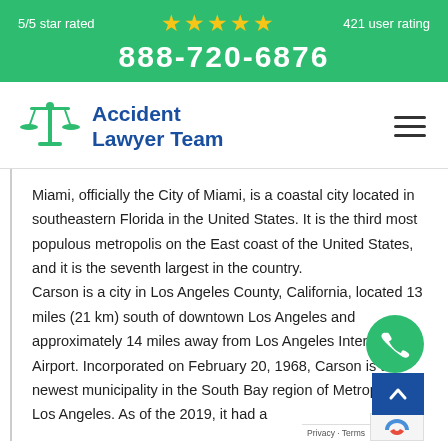5/5 star rated ★★★★★ 421 user rating
888-720-6876
[Figure (logo): Accident Lawyer Team logo with scales of justice icon and blue text]
Miami, officially the City of Miami, is a coastal city located in southeastern Florida in the United States. It is the third most populous metropolis on the East coast of the United States, and it is the seventh largest in the country.
Carson is a city in Los Angeles County, California, located 13 miles (21 km) south of downtown Los Angeles and approximately 14 miles away from Los Angeles International Airport. Incorporated on February 20, 1968, Carson is the newest municipality in the South Bay region of Metropolitan Los Angeles. As of the 2019, it had a